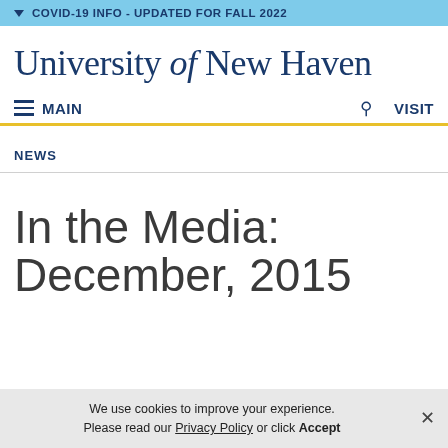COVID-19 INFO - UPDATED FOR FALL 2022
University of New Haven
MAIN
VISIT
NEWS
In the Media: December, 2015
We use cookies to improve your experience. Please read our Privacy Policy or click Accept